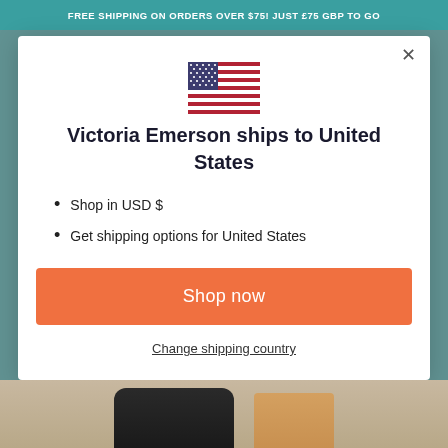FREE SHIPPING ON ORDERS OVER $75! JUST £75 GBP TO GO
[Figure (illustration): US flag emoji/icon centered in modal]
Victoria Emerson ships to United States
Shop in USD $
Get shipping options for United States
Shop now
Change shipping country